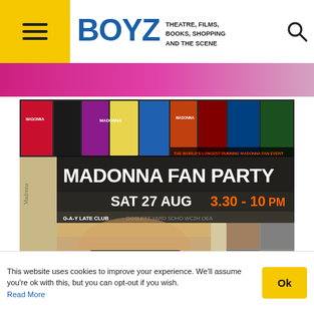BOYZ — THEATRE, FILMS, BOOKS, SHOPPING AND THE SCENE
[Figure (photo): Pink/colorful image strip partially visible below the header]
[Figure (photo): Madonna Fan Party event poster. SAT 27 AUG 3.30 - 10PM, G-A-Y LATE CLUB, GOSLETT YARD, SOHO. FREE ENTRY – NO TICKET REQUIRED. Features collage of Madonna album covers at top, photo of Madonna in sunglasses in center, and small photos collage on right side.]
This website uses cookies to improve your experience. We'll assume you're ok with this, but you can opt-out if you wish. Read More